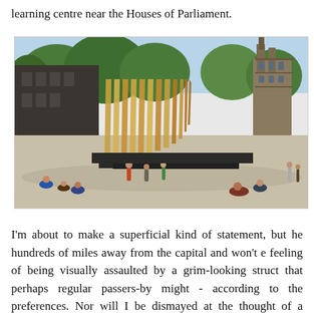learning centre near the Houses of Parliament.
[Figure (photo): Architectural rendering of a memorial structure with tall golden angular fins/panels arranged in a row, situated near the Houses of Parliament in London. People are sitting and walking around the open plaza area. Trees and the Victoria Tower of the Houses of Parliament are visible in the background.]
I'm about to make a superficial kind of statement, but he hundreds of miles away from the capital and won't e feeling of being visually assaulted by a grim-looking struct that perhaps regular passers-by might - according to the preferences. Nor will I be dismayed at the thought of a unwanted change to my personal environment in the...